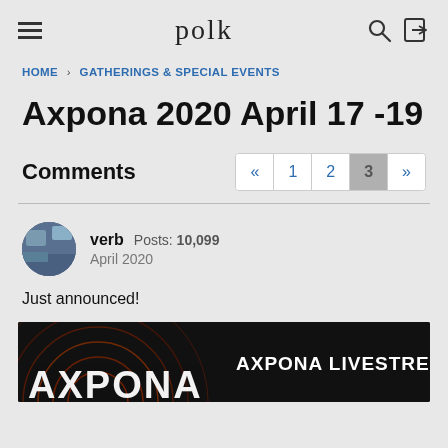polk
HOME › GATHERINGS & SPECIAL EVENTS
Axpona 2020 April 17 -19
Comments
verb  Posts: 10,099  April 2020
Just announced!
[Figure (photo): Axpona Livestream banner image with dark background showing concentric circles and 'AXPONA LIVESTREAM' text in white and 'AXPONA' in large letters at the bottom]